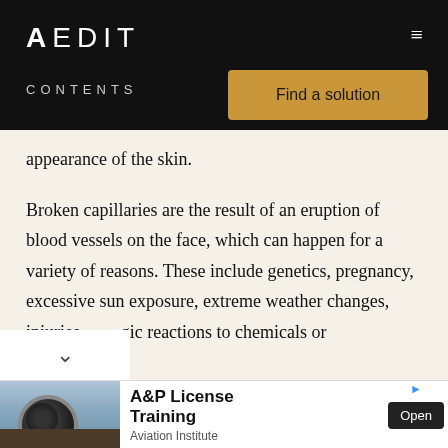AEDIT
CONTENTS
Find a solution
appearance of the skin.
Broken capillaries are the result of an eruption of blood vessels on the face, which can happen for a variety of reasons. These include genetics, pregnancy, excessive sun exposure, extreme weather changes, injuries, gic reactions to chemicals or environmental
[Figure (photo): Advertisement showing airplane jet engine with two workers in foreground, for A&P License Training by Aviation Institute]
A&P License Training
Aviation Institute
Open